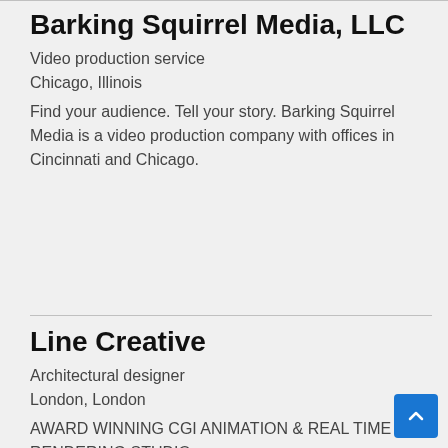Barking Squirrel Media, LLC
Video production service
Chicago, Illinois
Find your audience. Tell your story. Barking Squirrel Media is a video production company with offices in Cincinnati and Chicago.
Line Creative
Architectural designer
London, London
AWARD WINNING CGI ANIMATION & REAL TIME RENDERING STUDIO